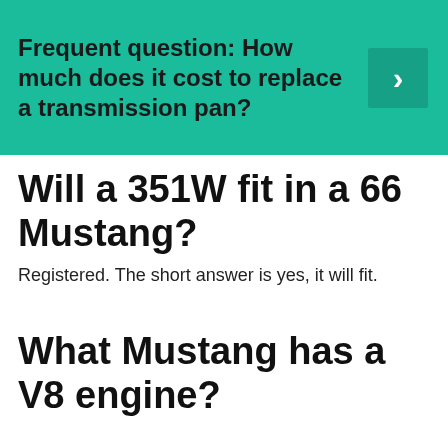[Figure (infographic): Teal/green banner with bold text 'Frequent question: How much does it cost to replace a transmission pan?' and a right-arrow chevron button on the right.]
Will a 351W fit in a 66 Mustang?
Registered. The short answer is yes, it will fit.
What Mustang has a V8 engine?
Engines
| Model | Year | Engine cc |
| --- | --- | --- |
|  | 2015–2017 | 4,951 cc (302 cu in) V8 |